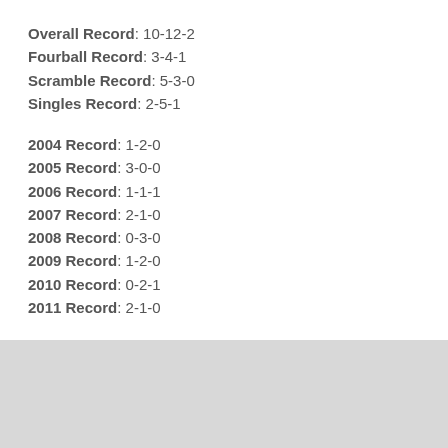Overall Record: 10-12-2
Fourball Record: 3-4-1
Scramble Record: 5-3-0
Singles Record: 2-5-1
2004 Record: 1-2-0
2005 Record: 3-0-0
2006 Record: 1-1-1
2007 Record: 2-1-0
2008 Record: 0-3-0
2009 Record: 1-2-0
2010 Record: 0-2-1
2011 Record: 2-1-0